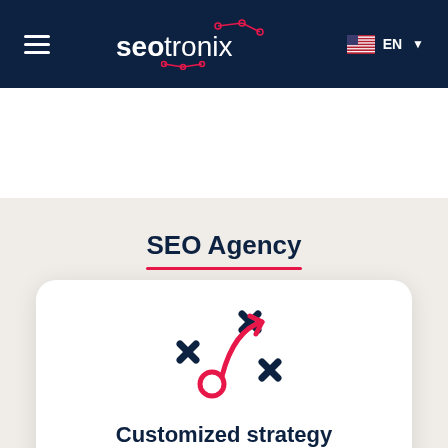seotronix — EN
SEO Agency
[Figure (illustration): Strategy icon showing X marks and an arrow path in dark navy and red/pink colors, representing a customized playbook or game plan]
Customized strategy
We design a completely customized SEO strategy